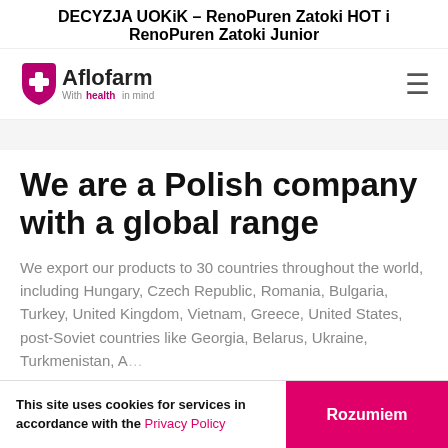DECYZJA UOKiK – RenoPuren Zatoki HOT i RenoPuren Zatoki Junior
[Figure (logo): Aflofarm logo with shield and text 'With health in mind']
We are a Polish company with a global range
We export our products to 30 countries throughout the world, including Hungary, Czech Republic, Romania, Bulgaria, Turkey, United Kingdom, Vietnam, Greece, United States, post-Soviet countries like Georgia, Belarus, Ukraine, Turkmenistan, Azerbaijan, and Middle East countries like Iraq and UAE
This site uses cookies for services in accordance with the Privacy Policy